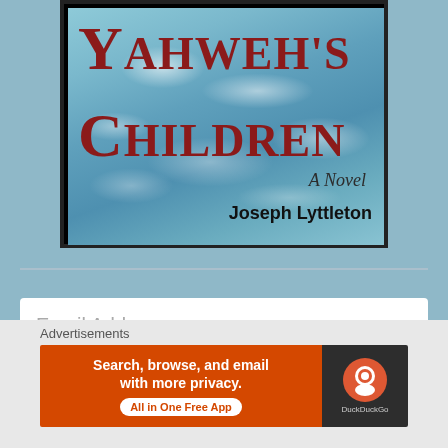[Figure (illustration): Book cover for 'Yahweh's Children: A Novel' by Joseph Lyttleton. Features a blue ocean/sky background with clouds. Title text in dark red serif font, author name in bold black.]
Email Address
Advertisements
[Figure (screenshot): DuckDuckGo advertisement banner. Orange left section reads 'Search, browse, and email with more privacy. All in One Free App'. Dark right section shows DuckDuckGo logo.]